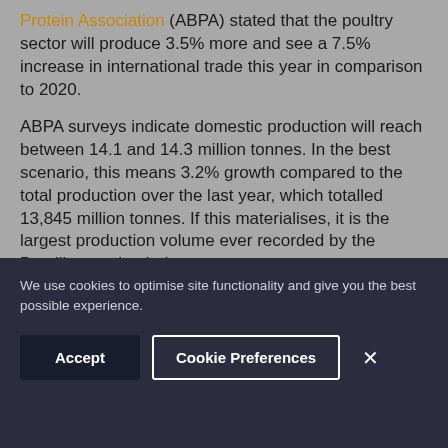Protein Association (ABPA) stated that the poultry sector will produce 3.5% more and see a 7.5% increase in international trade this year in comparison to 2020.
ABPA surveys indicate domestic production will reach between 14.1 and 14.3 million tonnes. In the best scenario, this means 3.2% growth compared to the total production over the last year, which totalled 13,845 million tonnes. If this materialises, it is the largest production volume ever recorded by the Brazilian poultry industry.
We use cookies to optimise site functionality and give you the best possible experience.